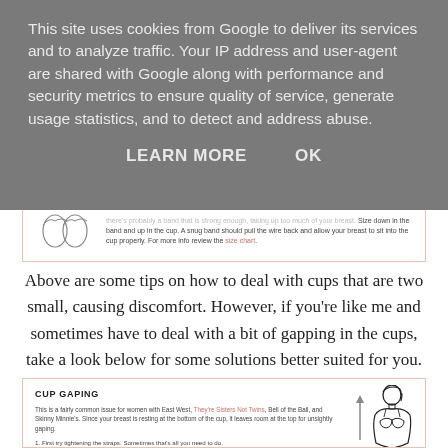This site uses cookies from Google to deliver its services and to analyze traffic. Your IP address and user-agent are shared with Google along with performance and security metrics to ensure quality of service, generate usage statistics, and to detect and address abuse.
LEARN MORE   OK
[Figure (illustration): Partial view of a bra fitting infographic card with an illustration of a person and small text about band and cup sizing with a size chart link.]
Above are some tips on how to deal with cups that are two small, causing discomfort. However, if you're like me and sometimes have to deal with a bit of gapping in the cups, take a look below for some solutions better suited for you.
[Figure (infographic): CUP GAPING infographic card. Text: This is a fairly common issue for women with East West, They're Sisters Not Twins, Bell of the Ball, and Skinny Minnie's. Since your breast is resting at the bottom of the cup, it leaves room at the top for unsightly gaping. 1. First try tightening the straps. Sometimes that's all you need to do. 2. If that doesn't work, try going down a cup size. It may be that your cup is just a little too big. If you don't think that you're one whole cup size smaller, try one of our signature ½ sizes. Illustration of a woman in a bra with an upward arrow on the right side.]